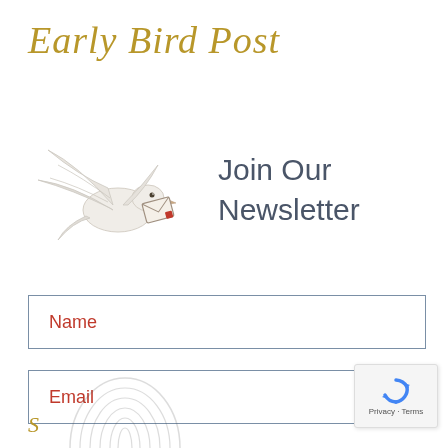Early Bird Post
[Figure (illustration): An illustrated white dove carrying a letter/envelope in its beak, with wings spread, depicted in a delicate painted style]
Join Our Newsletter
Name
Email
[Figure (illustration): Partial fingerprint/thumbprint illustration at the bottom left, in a light grey tone]
[Figure (other): reCAPTCHA badge with spinning arrows icon and 'Privacy - Terms' text]